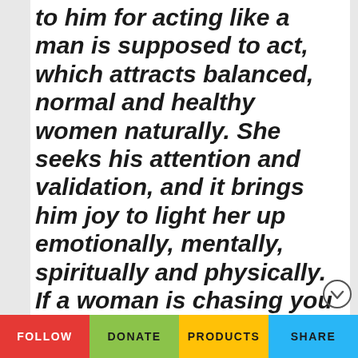to him for acting like a man is supposed to act, which attracts balanced, normal and healthy women naturally. She seeks his attention and validation, and it brings him joy to light her up emotionally, mentally, spiritually and physically. If a woman is chasing you because you are romancing her properly and
FOLLOW   DONATE   PRODUCTS   SHARE